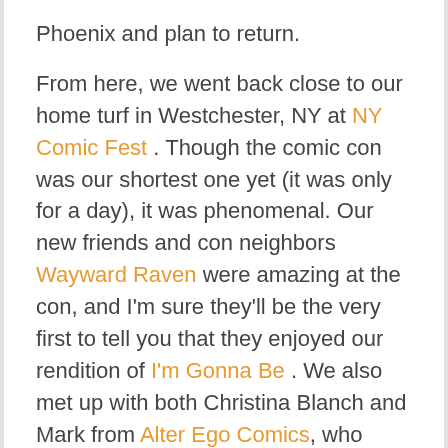Phoenix and plan to return.
From here, we went back close to our home turf in Westchester, NY at NY Comic Fest . Though the comic con was our shortest one yet (it was only for a day), it was phenomenal. Our new friends and con neighbors Wayward Raven were amazing at the con, and I'm sure they'll be the very first to tell you that they enjoyed our rendition of I'm Gonna Be . We also met up with both Christina Blanch and Mark from Alter Ego Comics, who were very kind to us and humored us in resolving a small bet between Wayward Raven and Odd Truth regarding the power of one's will.
Finally, we ended up at HeroesCon, where we met up with some old pals and made some new ones. Aside from getting Torchbearer out there in North